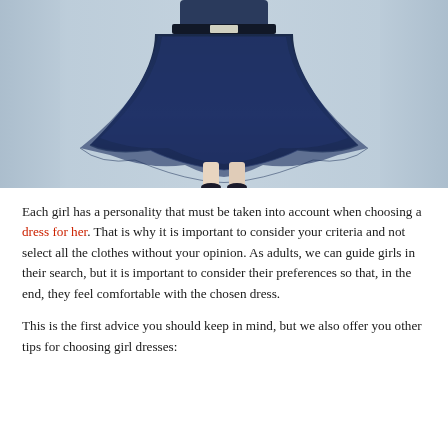[Figure (photo): A girl wearing a layered navy blue tulle high-low formal dress against a light blue-grey wall background. The dress has multiple tiers of navy tulle fabric with a draped, asymmetric hemline. The photo shows the dress from approximately waist down.]
Each girl has a personality that must be taken into account when choosing a dress for her. That is why it is important to consider your criteria and not select all the clothes without your opinion. As adults, we can guide girls in their search, but it is important to consider their preferences so that, in the end, they feel comfortable with the chosen dress.
This is the first advice you should keep in mind, but we also offer you other tips for choosing girl dresses: